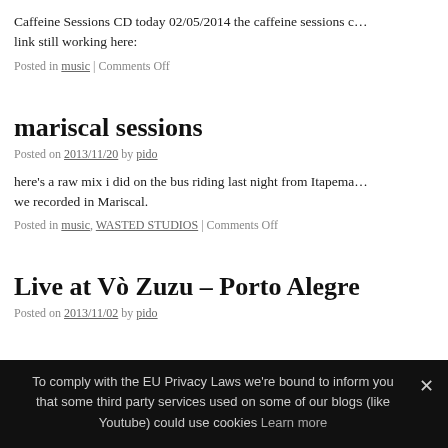Caffeine Sessions CD today 02/05/2014 the caffeine sessions c… link still working here:
Posted in music | Comments Off
mariscal sessions
Posted on 2013/11/20 by pido
here's a raw mix i did on the bus riding last night from Itapema… we recorded in Mariscal.
Posted in music, WASTED STUDIOS | Comments Off
Live at Vò Zuzu – Porto Alegre
Posted on 2013/11/02 by pido
To comply with the EU Privacy Laws we're bound to inform you that some third party services used on some of our blogs (like Youtube) could use cookies Learn more